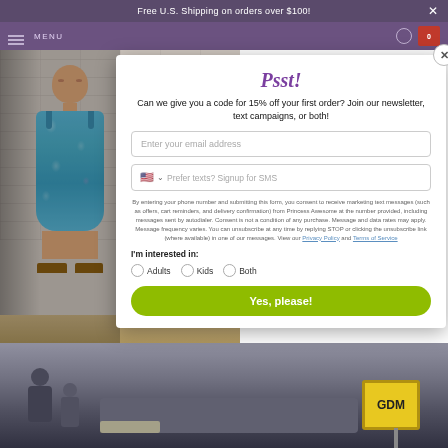Free U.S. Shipping on orders over $100!
[Figure (photo): A woman and a young girl wearing matching blue patterned dresses, standing in front of a white brick wall]
Psst!
Can we give you a code for 15% off your first order? Join our newsletter, text campaigns, or both!
Enter your email address
Prefer texts? Signup for SMS
By entering your phone number and submitting this form, you consent to receive marketing text messages (such as offers, cart reminders, and delivery confirmation) from Princess Awesome at the number provided, including messages sent by autodialer. Consent is not a condition of any purchase. Message and data rates may apply. Message frequency varies. You can unsubscribe at any time by replying STOP or clicking the unsubscribe link (where available) in one of our messages. View our Privacy Policy and Terms of Service
I'm interested in:
Adults
Kids
Both
Yes, please!
[Figure (photo): A street scene at the bottom of the page with a GDM road sign visible]